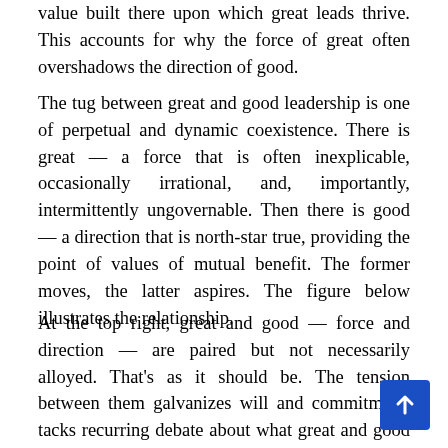value built there upon which great leads thrive. This accounts for why the force of great often overshadows the direction of good.
The tug between great and good leadership is one of perpetual and dynamic coexistence. There is great — a force that is often inexplicable, occasionally irrational, and, importantly, intermittently ungovernable. Then there is good — a direction that is north-star true, providing the point of values of mutual benefit. The former moves, the latter aspires. The figure below illustrates the relationship.
At the top right, great and good — force and direction — are paired but not necessarily alloyed. That's as it should be. The tension between them galvanizes will and commitment, tacks recurring debate about what great and good mean, and gives rise to a critical and continuing discourse for the ages. This is where courage...